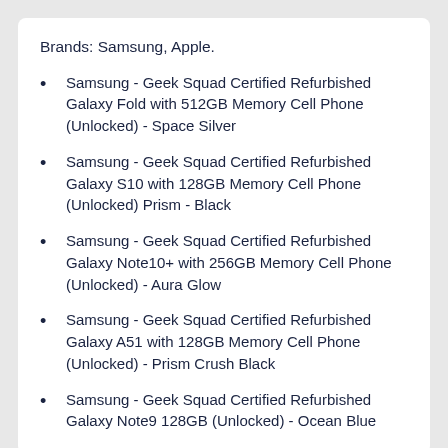Brands: Samsung, Apple.
Samsung - Geek Squad Certified Refurbished Galaxy Fold with 512GB Memory Cell Phone (Unlocked) - Space Silver
Samsung - Geek Squad Certified Refurbished Galaxy S10 with 128GB Memory Cell Phone (Unlocked) Prism - Black
Samsung - Geek Squad Certified Refurbished Galaxy Note10+ with 256GB Memory Cell Phone (Unlocked) - Aura Glow
Samsung - Geek Squad Certified Refurbished Galaxy A51 with 128GB Memory Cell Phone (Unlocked) - Prism Crush Black
Samsung - Geek Squad Certified Refurbished Galaxy Note9 128GB (Unlocked) - Ocean Blue